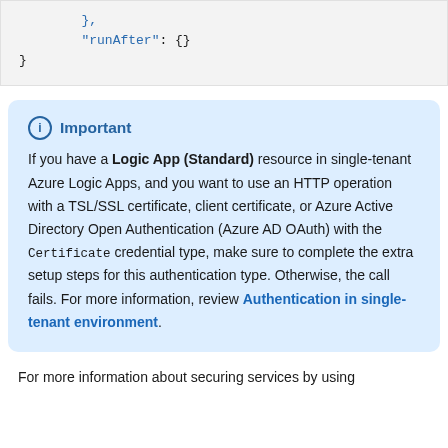[Figure (screenshot): Code block showing JSON snippet with '},' on first line, '"runAfter": {}' on second line, and '}' on third line]
Important
If you have a Logic App (Standard) resource in single-tenant Azure Logic Apps, and you want to use an HTTP operation with a TSL/SSL certificate, client certificate, or Azure Active Directory Open Authentication (Azure AD OAuth) with the Certificate credential type, make sure to complete the extra setup steps for this authentication type. Otherwise, the call fails. For more information, review Authentication in single-tenant environment.
For more information about securing services by using